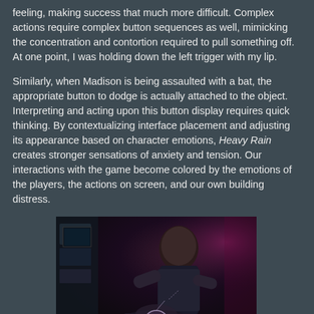feeling, making success that much more difficult. Complex actions require complex button sequences as well, mimicking the concentration and contortion required to pull something off. At one point, I was holding down the left trigger with my lip.
Similarly, when Madison is being assaulted with a bat, the appropriate button to dodge is actually attached to the object. Interpreting and acting upon this button display requires quick thinking. By contextualizing interface placement and adjusting its appearance based on character emotions, Heavy Rain creates stronger sensations of anxiety and tension. Our interactions with the game become colored by the emotions of the players, the actions on screen, and our own building distress.
[Figure (photo): Dark screenshot from the video game Heavy Rain showing a bald character in a threatening pose over another character, with a circular UI element visible in the lower center of the image.]
Figure from Heavy Rain